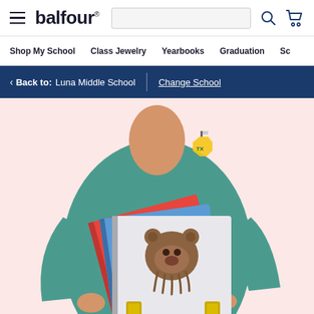balfour. | Shop My School | Class Jewelry | Yearbooks | Graduation | Sc
< Back to: Luna Middle School | Change School
[Figure (photo): Person wearing teal long-sleeve shirt with Texas state shape logo, holding a stack of yearbooks including one with a bear claw mascot design and gold letter H on white/gray cover, plus red and blue books, pink background]